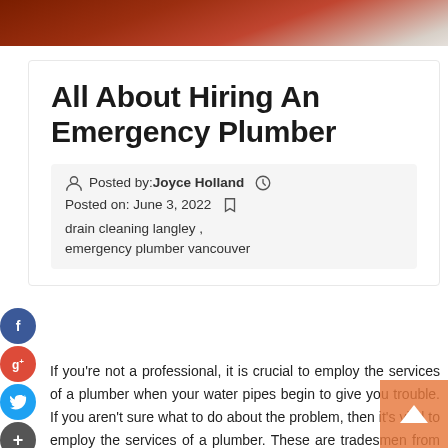[Figure (photo): Top banner image with reddish-brown background (leather/wood texture)]
All About Hiring An Emergency Plumber
Posted by: Joyce Holland  Posted on: June 3, 2022  drain cleaning langley , emergency plumber vancouver
If you're not a professional, it is crucial to employ the services of a plumber when your water pipes begin to give you trouble. If you aren't sure what to do about the problem, then it's vital to employ the services of a plumber. These are tradesmen from the local area who